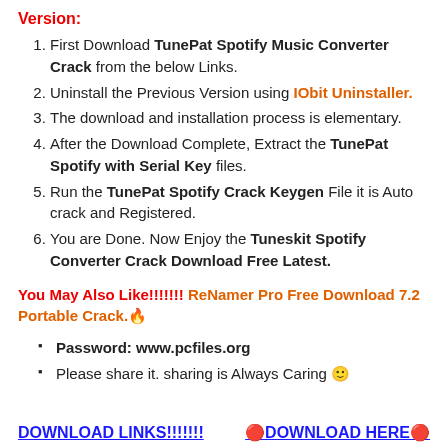Version:
First Download TunePat Spotify Music Converter Crack from the below Links.
Uninstall the Previous Version using IObit Uninstaller.
The download and installation process is elementary.
After the Download Complete, Extract the TunePat Spotify with Serial Key files.
Run the TunePat Spotify Crack Keygen File it is Auto crack and Registered.
You are Done. Now Enjoy the Tuneskit Spotify Converter Crack Download Free Latest.
You May Also Like!!!!!!! ReNamer Pro Free Download 7.2 Portable Crack.🔥
Password: www.pcfiles.org
Please share it. sharing is Always Caring 🙂
DOWNLOAD LINKS!!!!!!!   🔴DOWNLOAD HERE🔴